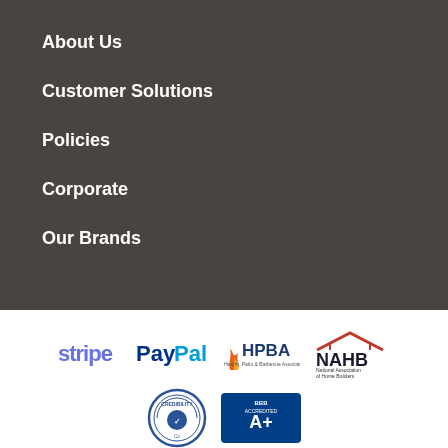About Us
Customer Solutions
Policies
Corporate
Our Brands
[Figure (logo): Logos row: Stripe, PayPal, HPBA (Hearth, Patio & Barbecue Association), NAHB (National Association of Home Builders)]
[Figure (logo): Logos row: Credibility Co badge, BBB Accredited A+ badge]